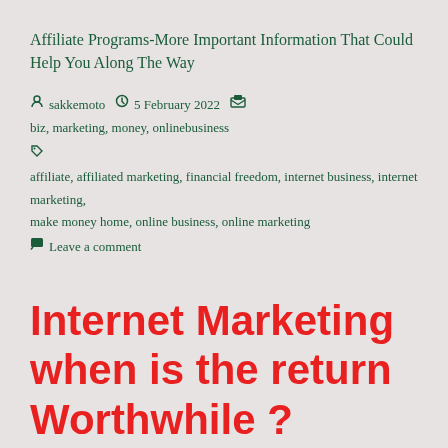Affiliate Programs-More Important Information That Could Help You Along The Way
sakkemoto   5 February 2022   biz, marketing, money, onlinebusiness   affiliate, affiliated marketing, financial freedom, internet business, internet marketing, make money home, online business, online marketing   Leave a comment
Internet Marketing when is the return Worthwhile ?